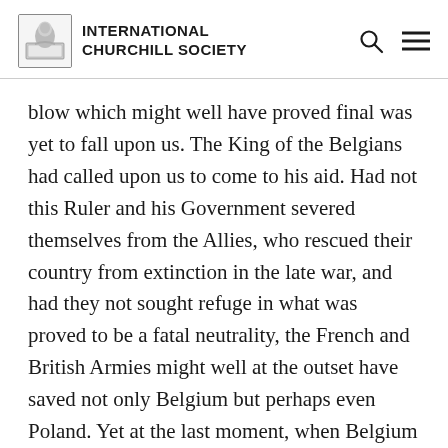INTERNATIONAL CHURCHILL SOCIETY
blow which might well have proved final was yet to fall upon us. The King of the Belgians had called upon us to come to his aid. Had not this Ruler and his Government severed themselves from the Allies, who rescued their country from extinction in the late war, and had they not sought refuge in what was proved to be a fatal neutrality, the French and British Armies might well at the outset have saved not only Belgium but perhaps even Poland. Yet at the last moment, when Belgium was already invaded, King Leopold called upon us to come to his aid, and even at the last moment we came. He and his brave, efficient Army, nearly half a million strong, guarded our left flank and thus kept open